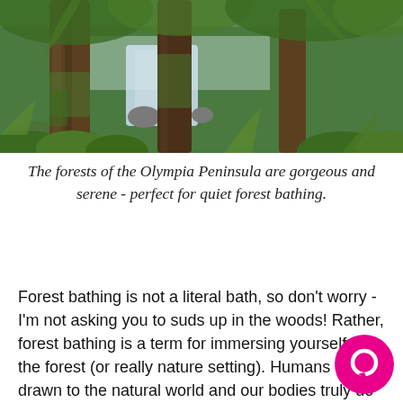[Figure (photo): Forest scene on the Olympia Peninsula showing moss-covered tree trunks, a small stream with rocks, and dense green ferns and foliage]
The forests of the Olympia Peninsula are gorgeous and serene - perfect for quiet forest bathing.
Forest bathing is not a literal bath, so don't worry - I'm not asking you to suds up in the woods! Rather, forest bathing is a term for immersing yourself in the forest (or really nature setting). Humans are drawn to the natural world and our bodies truly do react positively to these environments - this Kaiser